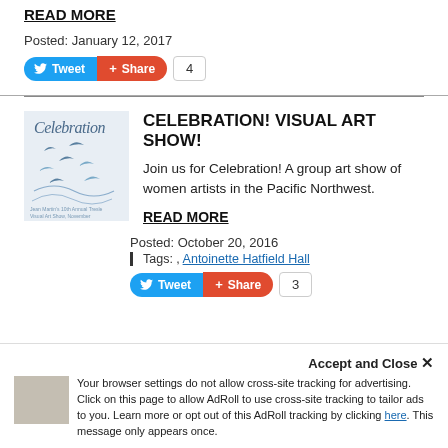READ MORE
Posted: January 12, 2017
[Figure (screenshot): Twitter Tweet button (blue) and Facebook Share button (orange-red) with share count 4]
[Figure (illustration): Celebration art show poster with birds and text 'Celebration - Jean Martin's 10th Annual Tresle Visual Art Show, November']
CELEBRATION! VISUAL ART SHOW!
Join us for Celebration! A group art show of women artists in the Pacific Northwest.
READ MORE
Posted: October 20, 2016
Tags: , Antoinette Hatfield Hall
[Figure (screenshot): Twitter Tweet button (blue) and Facebook Share button (orange-red) with share count 3]
Accept and Close ✕
Your browser settings do not allow cross-site tracking for advertising. Click on this page to allow AdRoll to use cross-site tracking to tailor ads to you. Learn more or opt out of this AdRoll tracking by clicking here. This message only appears once.